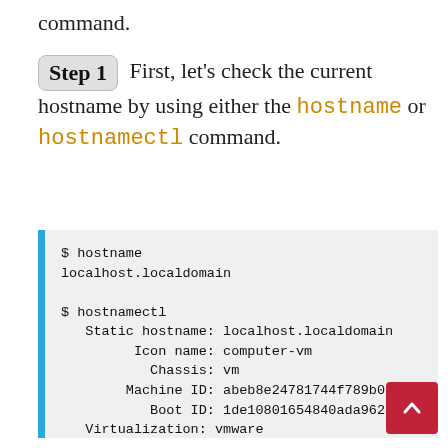command.
Step 1  First, let's check the current hostname by using either the hostname or hostnamectl command.
$ hostname
localhost.localdomain

$ hostnamectl
   Static hostname: localhost.localdomain
         Icon name: computer-vm
           Chassis: vm
        Machine ID: abeb8e24781744f789b0fc
           Boot ID: 1de10801654840ada96249
   Virtualization: vmware
  Operating System: AlmaLinux 8.3 (Purple
       CPE OS Name: cpe:/o:almalinux:almal
            Kernel: Linux 4.18.0-240 .x